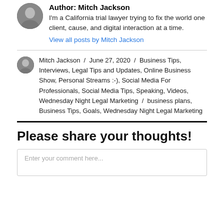Author: Mitch Jackson
I'm a California trial lawyer trying to fix the world one client, cause, and digital interaction at a time.
View all posts by Mitch Jackson
Mitch Jackson / June 27, 2020 / Business Tips, Interviews, Legal Tips and Updates, Online Business Show, Personal Streams :-), Social Media For Professionals, Social Media Tips, Speaking, Videos, Wednesday Night Legal Marketing / business plans, Business Tips, Goals, Wednesday Night Legal Marketing
Please share your thoughts!
Enter your comment here...